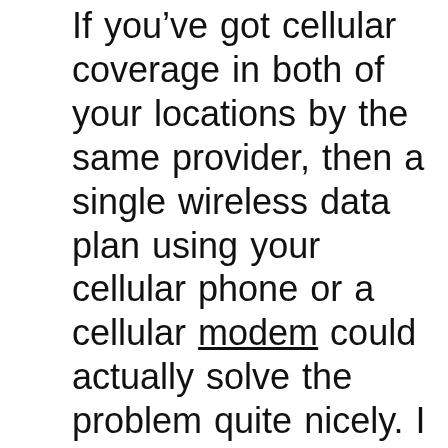If you've got cellular coverage in both of your locations by the same provider, then a single wireless data plan using your cellular phone or a cellular modem could actually solve the problem quite nicely. I personally happen to be a long-time Verizon wireless customer and I've been [image: Global Internet] quite happy with their service wherever I am.